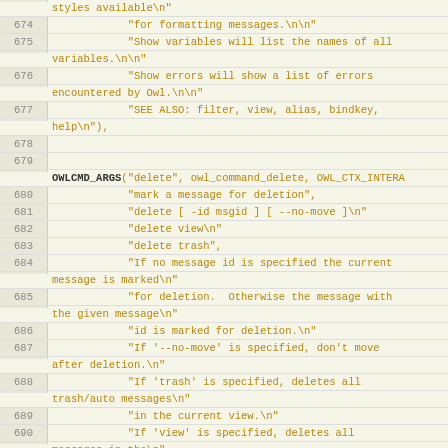Source code listing showing C code for OWL command definitions, lines 674-696
| line | code |
| --- | --- |
|  | styles available\n" |
| 674 | "for formatting messages.\n\n" |
| 675 | "Show variables will list the names of all variables.\n\n" |
| 676 | "Show errors will show a list of errors encountered by Owl.\n\n" |
| 677 | "SEE ALSO: filter, view, alias, bindkey, help\n"), |
| 678 |  |
| 679 |  |
|  | OWLCMD_ARGS("delete", owl_command_delete, OWL_CTX_INTERA |
| 680 | "mark a message for deletion", |
| 681 | "delete [ -id msgid ] [ --no-move ]\n" |
| 682 | "delete view\n" |
| 683 | "delete trash", |
| 684 | "If no message id is specified the current message is marked\n" |
| 685 | "for deletion.  Otherwise the message with the given message\n" |
| 686 | "id is marked for deletion.\n" |
| 687 | "If '--no-move' is specified, don't move after deletion.\n" |
| 688 | "If 'trash' is specified, deletes all trash/auto messages\n" |
| 689 | "in the current view.\n" |
| 690 | "If 'view' is specified, deletes all messages in the\n" |
| 691 | "current view.\n"), |
| 692 | OWLCMD_ALIAS("del", "delete"), |
| 693 |  |
| 694 |  |
|  | OWLCMD_ARGS("undelete", owl_command_undelete, OWL_CTX_INT |
| 695 | "unmark a message for deletion", |
| 696 | "undelete [ -id msgid ] [ --no-move ]\n" |